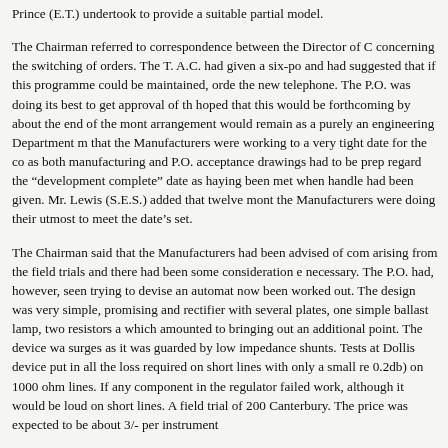Prince (E.T.) undertook to provide a suitable partial model.
The Chairman referred to correspondence between the Director of C concerning the switching of orders. The T. A.C. had given a six-po and had suggested that if this programme could be maintained, orde the new telephone. The P.O. was doing its best to get approval of th hoped that this would be forthcoming by about the end of the mont arrangement would remain as a purely an engineering Department m that the Manufacturers were working to a very tight date for the co as both manufacturing and P.O. acceptance drawings had to be prep regard the “development complete” date as haying been met when handle had been given. Mr. Lewis (S.E.S.) added that twelve mont the Manufacturers were doing their utmost to meet the date’s set.
The Chairman said that the Manufacturers had been advised of com arising from the field trials and there had been some consideration e necessary. The P.O. had, however, seen trying to devise an automat now been worked out. The design was very simple, promising and rectifier with several plates, one simple ballast lamp, two resistors a which amounted to bringing out an additional point. The device wa surges as it was guarded by low impedance shunts. Tests at Dollis device put in all the loss required on short lines with only a small re 0.2db) on 1000 ohm lines. If any component in the regulator failed work, although it would be loud on short lines. A field trial of 200 Canterbury. The price was expected to be about 3/- per instrument